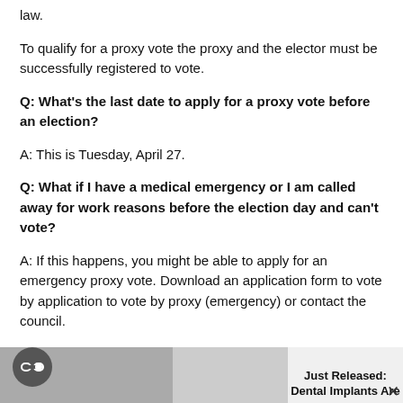law.
To qualify for a proxy vote the proxy and the elector must be successfully registered to vote.
Q: What's the last date to apply for a proxy vote before an election?
A: This is Tuesday, April 27.
Q: What if I have a medical emergency or I am called away for work reasons before the election day and can't vote?
A: If this happens, you might be able to apply for an emergency proxy vote. Download an application form to vote by application to vote by proxy (emergency) or contact the council.
The council must receive the application no later than 5pm on the election day. For medical emergency applications this must be supported and signed by a registered medical practitioner, a
Just Released: Dental Implants Are